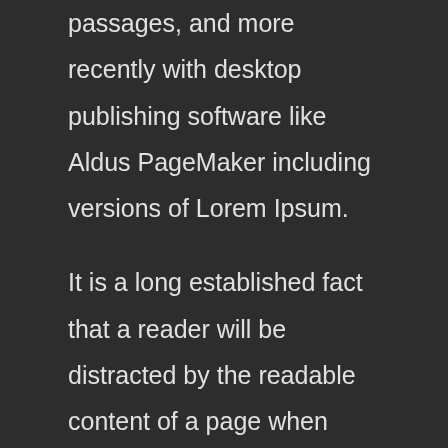passages, and more recently with desktop publishing software like Aldus PageMaker including versions of Lorem Ipsum.
It is a long established fact that a reader will be distracted by the readable content of a page when looking at its layout. The point of using Lorem Ipsum is that it has a more-or-less normal distribution of letters, as opposed to using 'Content here, content here', making it look like readable English. Many desktop publishing packages and web page editors now use Lorem Ipsum as their default model text, and a search for 'lorem ipsum' will uncover many web sites still in their infancy. Various versions have evolved over the